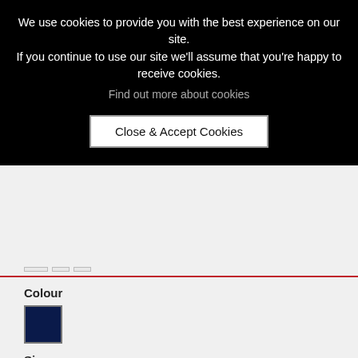We use cookies to provide you with the best experience on our site. If you continue to use our site we'll assume that you're happy to receive cookies.
Find out more about cookies
Close & Accept Cookies
Colour
Size
54
Add to cart
MORE INFO
DELIVERY & RETURNS
The berets are made intentionally without a lining, it's pointless adding something most people cut out. As they have no lining they